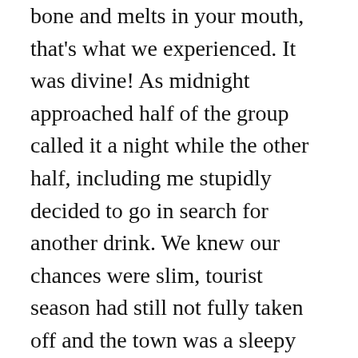bone and melts in your mouth, that's what we experienced. It was divine! As midnight approached half of the group called it a night while the other half, including me stupidly decided to go in search for another drink. We knew our chances were slim, tourist season had still not fully taken off and the town was a sleepy one but, as luck would have it we spotted a restaurant owner enjoying a post work drink with a friend. Suddenly he was surrounded by four women and me but, without hesitation he told us to sit down and went to fetch a heap of cold beers. Several beers and three hours later we departed with the restaurant owner refusing to accept any money for his hospitality. Looking back I do question whether it was his restaurant! However, I forget to tell you about our